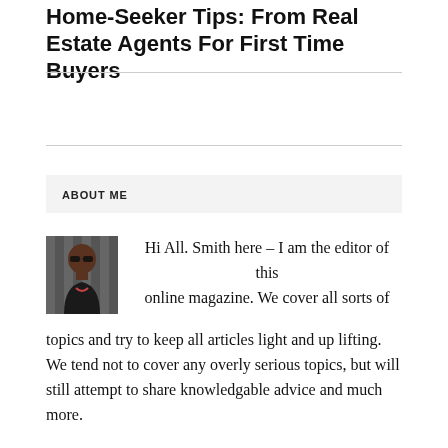Home-Seeker Tips: From Real Estate Agents For First Time Buyers
ABOUT ME
[Figure (photo): Profile photo of editor Smith, a person wearing sunglasses and a dark top, against a striped background]
Hi All. Smith here – I am the editor of this online magazine. We cover all sorts of topics and try to keep all articles light and up lifting. We tend not to cover any overly serious topics, but will still attempt to share knowledgable advice and much more.